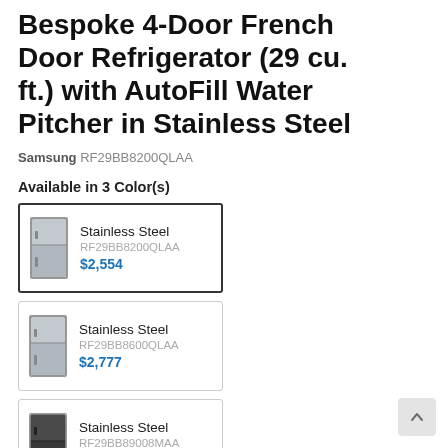Bespoke 4-Door French Door Refrigerator (29 cu. ft.) with AutoFill Water Pitcher in Stainless Steel
Samsung RF29BB8200QLAA
Available in 3 Color(s)
| Image | Name | SKU | Price |
| --- | --- | --- | --- |
| [fridge image] | Stainless Steel | RF29BB8200QLAA | $2,554 |
| [fridge image] | Stainless Steel | RF29BB8600QLAA | $2,777 |
| [fridge image] | Stainless Steel | RF29BB89008MAA | $3,332 |
Features
Extra-large capacity 4-Door French Door Refrigerator with customizable and changeable door panels available in a variety of colors and finishes. Reinvent water and ice the way you want it with Samsung's AutoFill Water Pitcher and Dual Ice Maker with